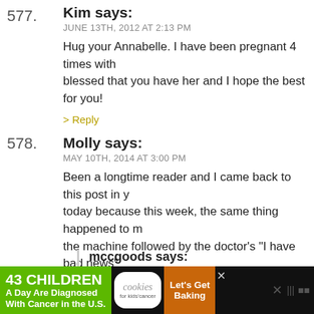577. Kim says:
JUNE 13TH, 2012 AT 2:13 PM
Hug your Annabelle. I have been pregnant 4 times with blessed that you have her and I hope the best for you!
> Reply
578. Molly says:
MAY 10TH, 2014 AT 3:00 PM
Been a longtime reader and I came back to this post in y today because this week, the same thing happened to m the machine followed by the doctor's "I have bad news" running through my head. Anyway, I just wanted to say having shared this. I am reminded that some people inc this loss.
> Reply
mccgoods says:
MAY 10TH, 2014 AT 6:15 PM
[Figure (infographic): Advertisement banner: '43 CHILDREN A Day Are Diagnosed With Cancer in the U.S.' with cookies for kids' cancer logo and 'Let's Get Baking' text on orange background.]